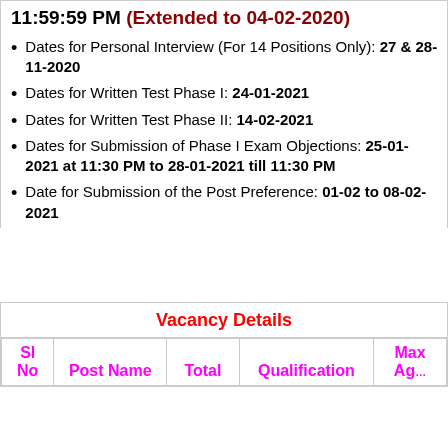11:59:59 PM (Extended to 04-02-2020)
Dates for Personal Interview (For 14 Positions Only): 27 & 28-11-2020
Dates for Written Test Phase I: 24-01-2021
Dates for Written Test Phase II: 14-02-2021
Dates for Submission of Phase I Exam Objections: 25-01-2021 at 11:30 PM to 28-01-2021 till 11:30 PM
Date for Submission of the Post Preference: 01-02 to 08-02-2021
Vacancy Details
| Sl No | Post Name | Total | Qualification | Max Age |
| --- | --- | --- | --- | --- |